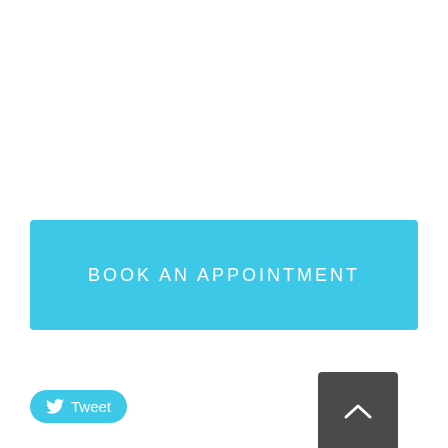BOOK AN APPOINTMENT
[Figure (other): Tweet button with Twitter bird icon and 'Tweet' label in white text on sky blue rounded rectangle background]
[Figure (other): Scroll-to-top button: dark gray square with white upward chevron arrow]